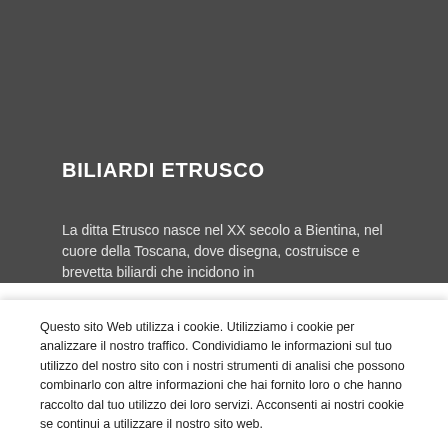BILIARDI ETRUSCO
La ditta Etrusco nasce nel XX secolo a Bientina, nel cuore della Toscana, dove disegna, costruisce e brevetta biliardi che incidono in...
Questo sito Web utilizza i cookie. Utilizziamo i cookie per analizzare il nostro traffico. Condividiamo le informazioni sul tuo utilizzo del nostro sito con i nostri strumenti di analisi che possono combinarlo con altre informazioni che hai fornito loro o che hanno raccolto dal tuo utilizzo dei loro servizi. Acconsenti ai nostri cookie se continui a utilizzare il nostro sito web.
Impostazioni Cookie
Accetta tutto
Rifiuta
Dettagli